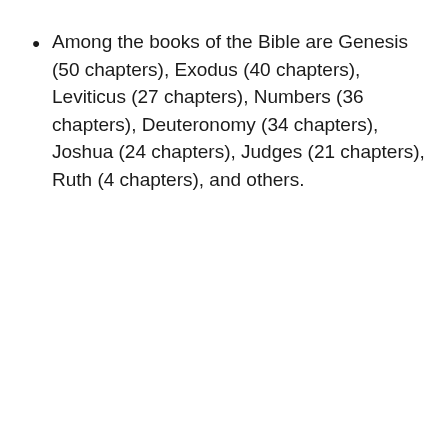Among the books of the Bible are Genesis (50 chapters), Exodus (40 chapters), Leviticus (27 chapters), Numbers (36 chapters), Deuteronomy (34 chapters), Joshua (24 chapters), Judges (21 chapters), Ruth (4 chapters), and others.